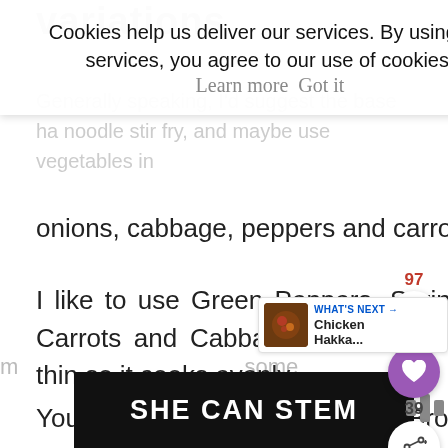variations
Cookies help us deliver our services. By using our services, you agree to our use of cookies. Learn more  Got it
onions, cabbage, peppers and carrots.
I like to use Green Peppers, Spring Onions, Carrots and Cabbage with everything sliced thin so it cooks evenly.
You can add Mushrooms, Corn, Broccoli – whatever veg you like!
[Figure (infographic): Social action sidebar with heart/like buttons showing counts 97 and 39, and a share button]
[Figure (infographic): What's Next panel showing Chicken Hakka... with a food thumbnail]
[Figure (infographic): SHE CAN STEM advertisement banner in black with white bold text]